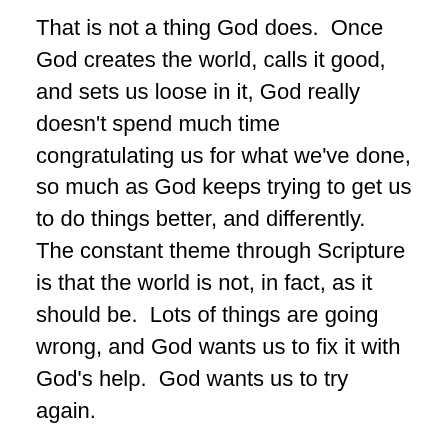That is not a thing God does.  Once God creates the world, calls it good, and sets us loose in it, God really doesn't spend much time congratulating us for what we've done, so much as God keeps trying to get us to do things better, and differently.  The constant theme through Scripture is that the world is not, in fact, as it should be.  Lots of things are going wrong, and God wants us to fix it with God's help.  God wants us to try again.
But before we can do that, we first have to recognize that the way things are is not the way things should be.  This is not a just world.  This is not the world as God intended.  God did not intend for parents to send their children off to school and never see them again.  God did not intend for children to beg politicians for their right to live without fear.